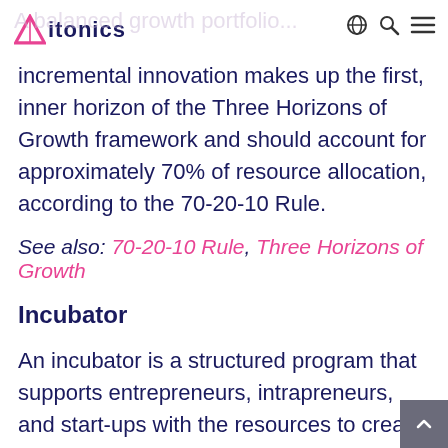ITONICS | A balanced growth portfolio...
incremental innovation makes up the first, inner horizon of the Three Horizons of Growth framework and should account for approximately 70% of resource allocation, according to the 70-20-10 Rule.
See also: 70-20-10 Rule, Three Horizons of Growth
Incubator
An incubator is a structured program that supports entrepreneurs, intrapreneurs, and start-ups with the resources to create and grow new business ventures. Typically, this occurs at an